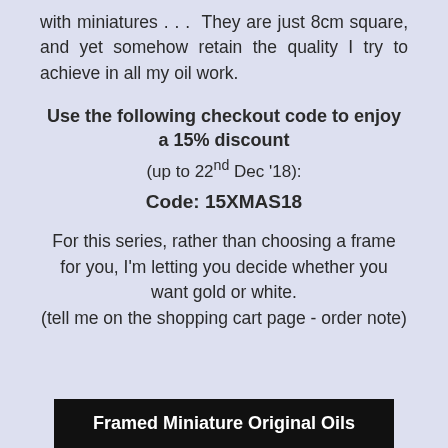with miniatures . . .  They are just 8cm square, and yet somehow retain the quality I try to achieve in all my oil work.
Use the following checkout code to enjoy a 15% discount (up to 22nd Dec '18):
Code: 15XMAS18
For this series, rather than choosing a frame for you, I'm letting you decide whether you want gold or white. (tell me on the shopping cart page - order note)
Framed Miniature Original Oils